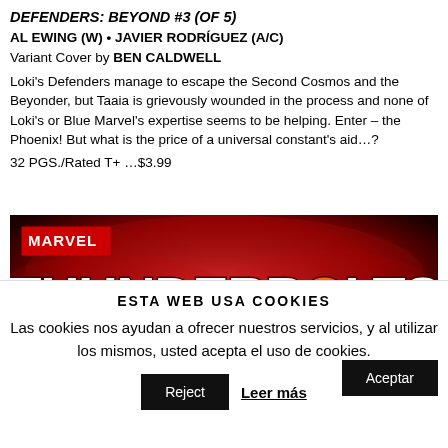DEFENDERS: BEYOND #3 (OF 5)
AL EWING (W) • JAVIER RODRÍGUEZ (A/C)
Variant Cover by BEN CALDWELL
Loki's Defenders manage to escape the Second Cosmos and the Beyonder, but Taaia is grievously wounded in the process and none of Loki's or Blue Marvel's expertise seems to be helping. Enter – the Phoenix! But what is the price of a universal constant's aid…?
32 PGS./Rated T+ …$3.99
[Figure (illustration): Marvel Thunderbolts logo on a dark red background with lightning and decorative elements]
ESTA WEB USA COOKIES
Las cookies nos ayudan a ofrecer nuestros servicios, y al utilizar los mismos, usted acepta el uso de cookies.
Aceptar
Reject
Leer más